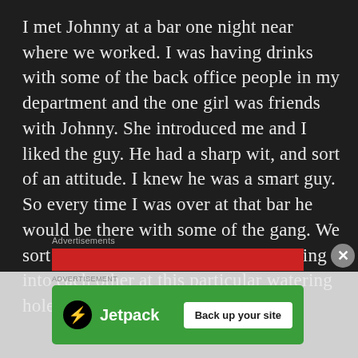I met Johnny at a bar one night near where we worked. I was having drinks with some of the back office people in my department and the one girl was friends with Johnny. She introduced me and I liked the guy. He had a sharp wit, and sort of an attitude. I knew he was a smart guy.  So every time I was over at that bar he would be there with some of the gang. We sort of became friends from just running into each other at this particular watering hole.
Advertisements
[Figure (other): Jetpack advertisement banner with green background, Jetpack logo, and 'Back up your site' call-to-action button]